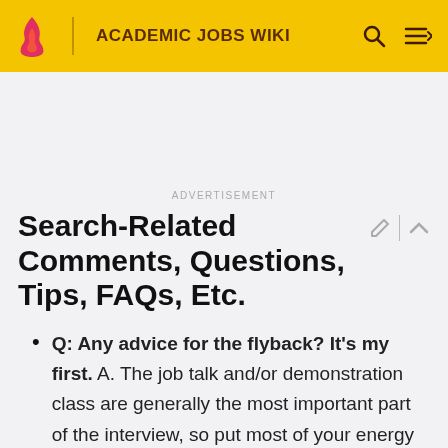ACADEMIC JOBS WIKI
ADVERTISEMENT
Search-Related Comments, Questions, Tips, FAQs, Etc.
Q: Any advice for the flyback? It's my first. A. The job talk and/or demonstration class are generally the most important part of the interview, so put most of your energy there. At the MLA they asked you questions and you talked most of the time. On campus, it will be more of a conversation, so let them